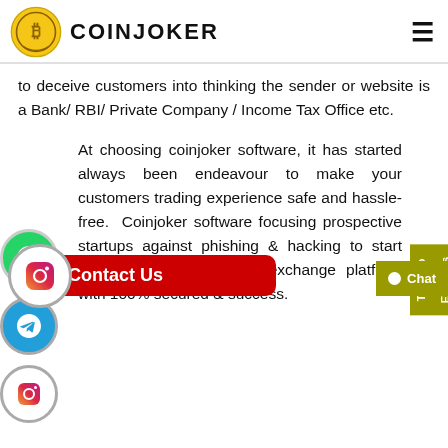COINJOKER
to deceive customers into thinking the sender or website is a Bank/ RBI/ Private Company / Income Tax Office etc.
At choosing coinjoker software, it has started always been endeavour to make your customers trading experience safe and hassle-free. Coinjoker software focusing prospective startups against phishing & hacking to start their own cryptocurrency exchange platform with 100% secured & success.
[Figure (logo): Contact Us button with red background]
[Figure (infographic): Talk To Our Experts sidebar button in olive/yellow color]
[Figure (infographic): Chat button in olive/yellow color]
[Figure (infographic): WhatsApp, Telegram, and Instagram social media icon buttons on left side]